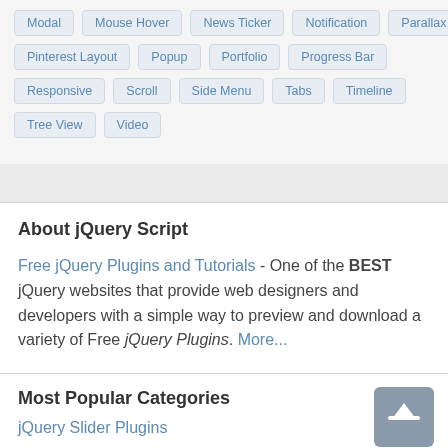Modal
Mouse Hover
News Ticker
Notification
Parallax
Pinterest Layout
Popup
Portfolio
Progress Bar
Responsive
Scroll
Side Menu
Tabs
Timeline
Tree View
Video
About jQuery Script
Free jQuery Plugins and Tutorials - One of the BEST jQuery websites that provide web designers and developers with a simple way to preview and download a variety of Free jQuery Plugins. More...
Most Popular Categories
jQuery Slider Plugins